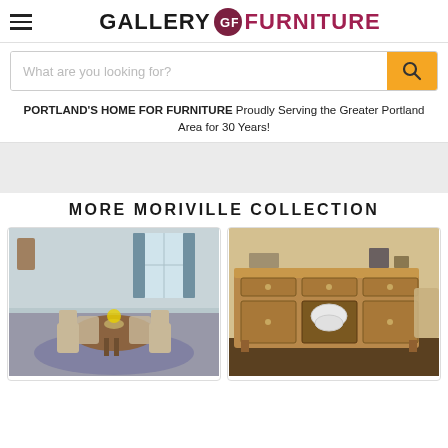[Figure (logo): Gallery Furniture logo with hamburger menu icon on left. 'GALLERY' in black bold, circular GF emblem, 'FURNITURE' in dark red/maroon bold.]
What are you looking for?
PORTLAND'S HOME FOR FURNITURE Proudly Serving the Greater Portland Area for 30 Years!
MORE MORIVILLE COLLECTION
[Figure (photo): Dining room set with round table and X-back chairs in brown finish, with floral centerpiece, on a patterned rug.]
[Figure (photo): Wooden buffet/sideboard with drawers and cabinet doors in a brown finish, with decorative items on top.]